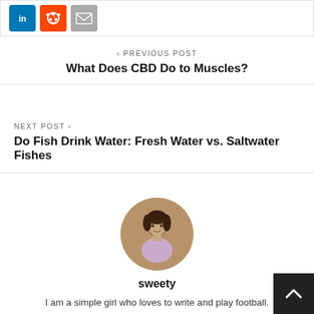[Figure (other): Social share buttons: LinkedIn (blue), Reddit (orange), Email (gray)]
< PREVIOUS POST
What Does CBD Do to Muscles?
NEXT POST >
Do Fish Drink Water: Fresh Water vs. Saltwater Fishes
[Figure (photo): Circular profile photo of author Sweety, a young woman in a light purple shirt]
sweety
I am a simple girl who loves to write and play football. interest towards writing has made me write a lot of eBooks and short stories. I believe writing is that passion which helps you